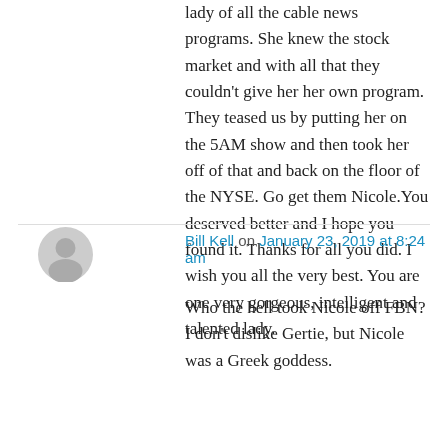with FBN. They are fakers. They had the prettiest lady of all the cable news programs. She knew the stock market and with all that they couldn't give her her own program. They teased us by putting her on the 5AM show and then took her off of that and back on the floor of the NYSE. Go get them Nicole.You deserved better and I hope you found it. Thanks for all you did. I wish you all the very best. You are one very gorgeous, intelligent and talented lady.
Bill Kell on January 23, 2019 at 8:24 am
Who the hell took Nicole off FBN? I don't dislike Gertie, but Nicole was a Greek goddess.